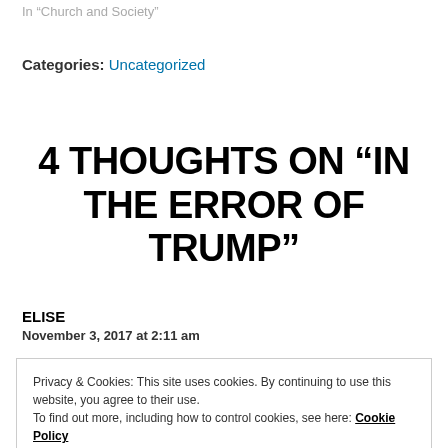In “Church and Society”
Categories: Uncategorized
4 THOUGHTS ON “IN THE ERROR OF TRUMP”
ELISE
November 3, 2017 at 2:11 am
Privacy & Cookies: This site uses cookies. By continuing to use this website, you agree to their use.
To find out more, including how to control cookies, see here: Cookie Policy
Close and accept